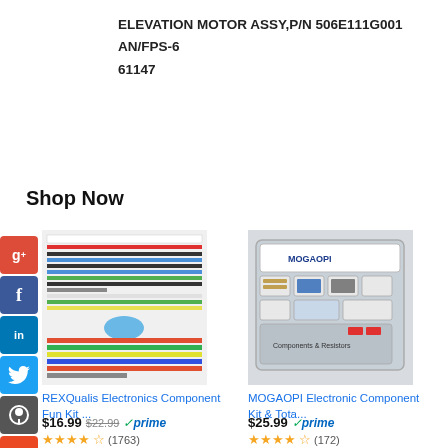ELEVATION MOTOR ASSY,P/N 506E111G001
AN/FPS-6
61147
Shop Now
[Figure (photo): REXQualis Electronics Component Fun Kit - colorful components laid out in a flat-lay photo]
REXQualis Electronics Component Fun Kit ...
$16.99  $22.99  prime  (1763)
[Figure (photo): MOGAOPI Electronic Component Kit & Total... - open plastic organizer case with components]
MOGAOPI Electronic Component Kit & Tota...
$25.99  prime  (172)